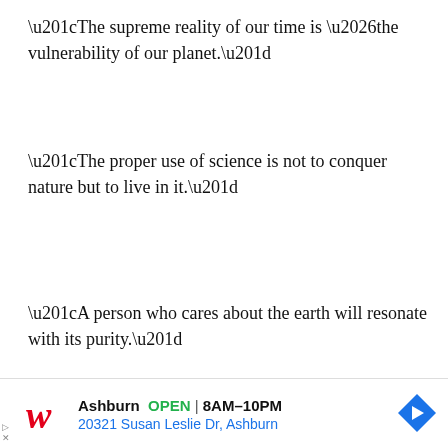“The supreme reality of our time is …the vulnerability of our planet.”
“The proper use of science is not to conquer nature but to live in it.”
“A person who cares about the earth will resonate with its purity.”
[Figure (screenshot): Collapsed section chevron UI element and partial text row]
[Figure (screenshot): Walgreens advertisement banner: Ashburn OPEN 8AM-10PM, 20321 Susan Leslie Dr, Ashburn]